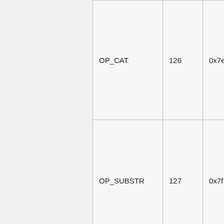| Name | Number | Hex | Args | Output |
| --- | --- | --- | --- | --- |
| OP_CAT | 126 | 0x7e | x2 x1 | ou… |
| OP_SUBSTR | 127 | 0x7f | x3 index size | ou… |